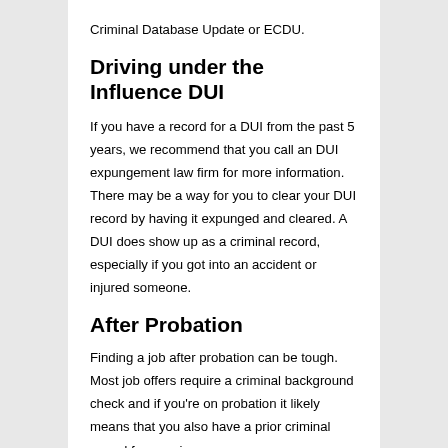Criminal Database Update or ECDU.
Driving under the Influence DUI
If you have a record for a DUI from the past 5 years, we recommend that you call an DUI expungement law firm for more information. There may be a way for you to clear your DUI record by having it expunged and cleared. A DUI does show up as a criminal record, especially if you got into an accident or injured someone.
After Probation
Finding a job after probation can be tough. Most job offers require a criminal background check and if you're on probation it likely means that you also have a prior criminal record for a serious